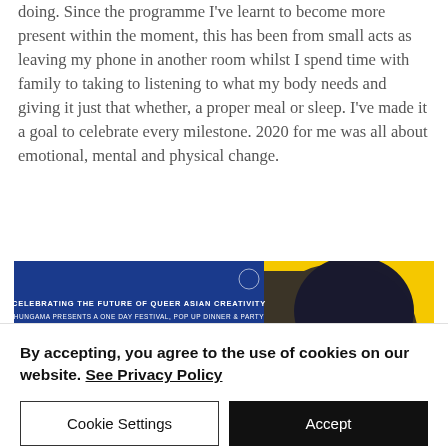doing. Since the programme I've learnt to become more present within the moment, this has been from small acts as leaving my phone in another room whilst I spend time with family to taking to listening to what my body needs and giving it just that whether, a proper meal or sleep. I've made it a goal to celebrate every milestone. 2020 for me was all about emotional, mental and physical change.
[Figure (illustration): Advertisement banner for HUNGAMA festival. Blue and yellow background. Text reads: CELEBRATING THE FUTURE OF QUEER ASIAN CREATIVITY. HUNGAMA PRESENTS A ONE DAY FESTIVAL, POP UP DINNER & PARTY. HUNGAMA in large colorful letters.]
By accepting, you agree to the use of cookies on our website. See Privacy Policy
Cookie Settings
Accept